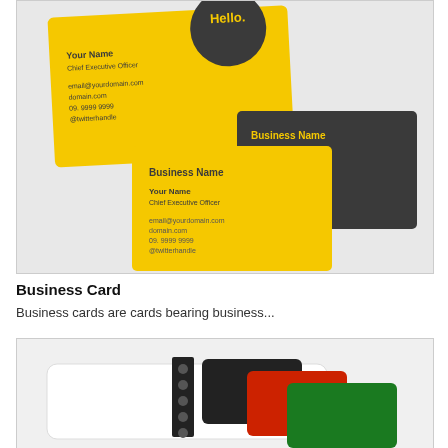[Figure (illustration): Three business cards shown overlapping: two yellow cards and one dark charcoal/grey card. Yellow cards show 'Business Name', 'Your Name', 'Chief Executive Officer', contact details. Grey card shows same info with yellow accent text. One yellow card has a dark circle with 'Hello!' text.]
Business Card
Business cards are cards bearing business...
[Figure (photo): A notebook or card holder with multiple cards visible including white, black, red, and green colored cards, with spiral binding visible.]